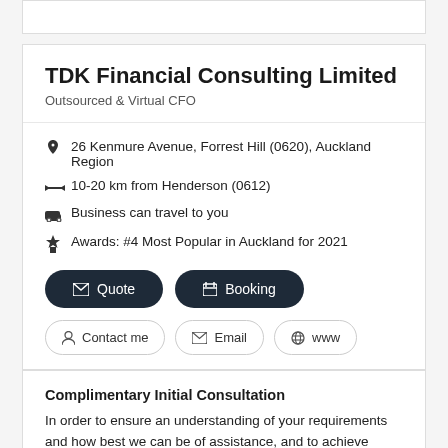TDK Financial Consulting Limited
Outsourced & Virtual CFO
26 Kenmure Avenue, Forrest Hill (0620), Auckland Region
10-20 km from Henderson (0612)
Business can travel to you
Awards: #4 Most Popular in Auckland for 2021
Quote
Booking
Contact me
Email
www
Complimentary Initial Consultation
In order to ensure an understanding of your requirements and how best we can be of assistance, and to achieve mutual agreement on the best